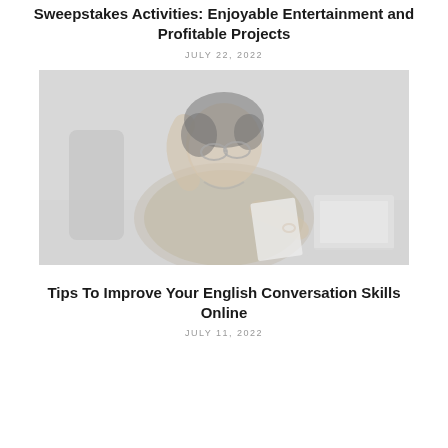Sweepstakes Activities: Enjoyable Entertainment and Profitable Projects
JULY 22, 2022
[Figure (photo): A middle-aged woman with dark hair and glasses sitting at a desk, holding papers and raising her hand, with a laptop open in front of her. The image is faded/low contrast.]
Tips To Improve Your English Conversation Skills Online
JULY 11, 2022